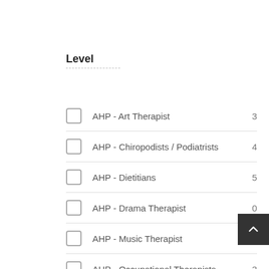Level
AHP - Art Therapist
AHP - Chiropodists / Podiatrists
AHP - Dietitians
AHP - Drama Therapist
AHP - Music Therapist
AHP - Occupational Therapists
AHP - OPD Anaesthesia